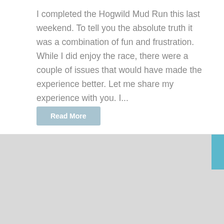I completed the Hogwild Mud Run this last weekend. To tell you the absolute truth it was a combination of fun and frustration. While I did enjoy the race, there were a couple of issues that would have made the experience better. Let me share my experience with you. I...
Read More